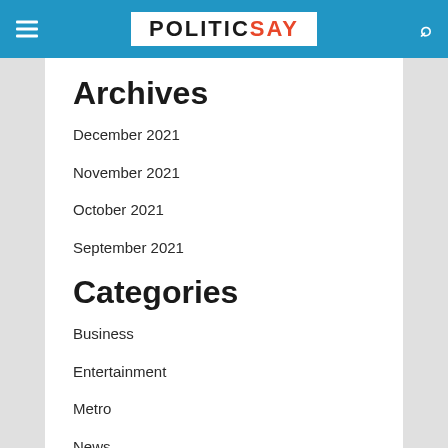POLITICSAY
Archives
December 2021
November 2021
October 2021
September 2021
Categories
Business
Entertainment
Metro
News
Sports